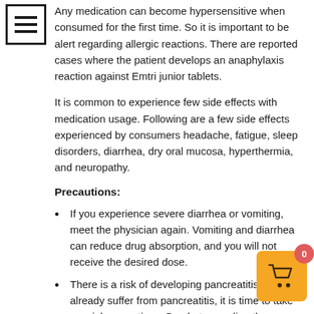[Figure (other): Menu/hamburger icon in a square border]
Any medication can become hypersensitive when consumed for the first time. So it is important to be alert regarding allergic reactions. There are reported cases where the patient develops an anaphylaxis reaction against Emtri junior tablets.
It is common to experience few side effects with medication usage. Following are a few side effects experienced by consumers headache, fatigue, sleep disorders, diarrhea, dry oral mucosa, hyperthermia, and neuropathy.
Precautions:
If you experience severe diarrhea or vomiting, meet the physician again. Vomiting and diarrhea can reduce drug absorption, and you will not receive the desired dose.
There is a risk of developing pancreatitis. If you already suffer from pancreatitis, it is time to take special precautions. Be alert regarding the associated side effects such as vomiting, fever, and tiredness.
Emtri junior tablets can interact with several other antibiotics, antineoplastic drugs, and oral